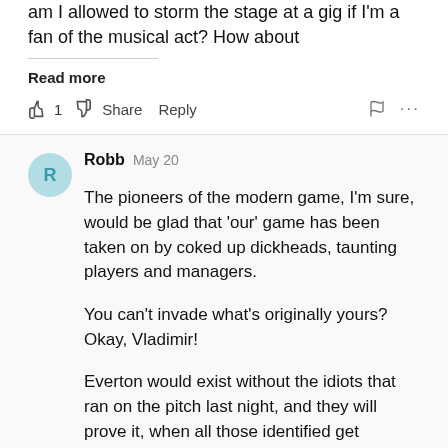am I allowed to storm the stage at a gig if I'm a fan of the musical act? How about
Read more
👍 1 👎 Share Reply 🚩 ...
Robb May 20
The pioneers of the modern game, I'm sure, would be glad that 'our' game has been taken on by coked up dickheads, taunting players and managers.

You can't invade what's originally yours? Okay, Vladimir!

Everton would exist without the idiots that ran on the pitch last night, and they will prove it, when all those identified get stadium bans.